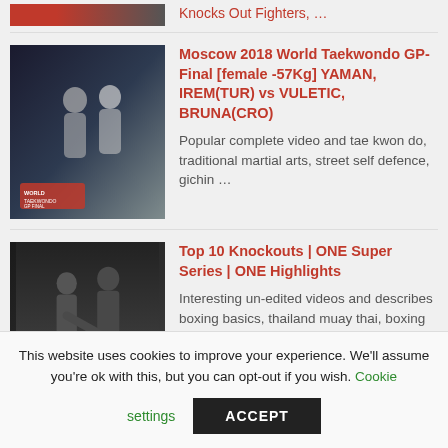Knocks Out Fighters, …
[Figure (photo): Taekwondo match photo showing two female fighters, World Taekwondo GP branding visible]
Moscow 2018 World Taekwondo GP-Final [female -57Kg] YAMAN, IREM(TUR) vs VULETIC, BRUNA(CRO)
Popular complete video and tae kwon do, traditional martial arts, street self defence, gichin …
[Figure (photo): MMA/kickboxing fight photo with Top 10 Knockouts ONE Highlights branding]
Top 10 Knockouts | ONE Super Series | ONE Highlights
Interesting un-edited videos and describes boxing basics, thailand muay thai, boxing
This website uses cookies to improve your experience. We'll assume you're ok with this, but you can opt-out if you wish. Cookie settings ACCEPT